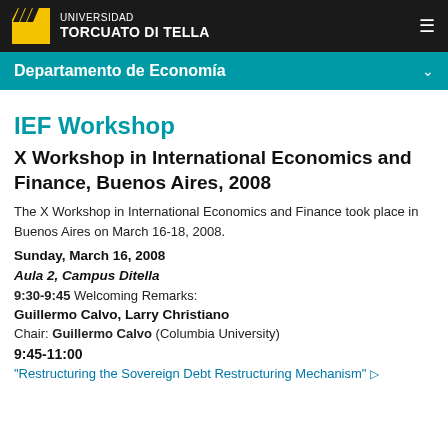UNIVERSIDAD TORCUATO DI TELLA
Departamento de Economía
IEF Workshop
X Workshop in International Economics and Finance, Buenos Aires, 2008
The X Workshop in International Economics and Finance took place in Buenos Aires on March 16-18, 2008.
Sunday, March 16, 2008
Aula 2, Campus Ditella
9:30-9:45 Welcoming Remarks:
Guillermo Calvo, Larry Christiano
Chair: Guillermo Calvo (Columbia University)
9:45-11:00
"Restructuring the Sovereign Debt Restructuring Mechanism"